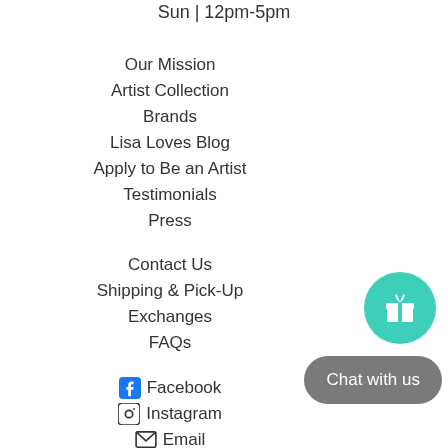Sun | 12pm-5pm
Our Mission
Artist Collection
Brands
Lisa Loves Blog
Apply to Be an Artist
Testimonials
Press
Contact Us
Shipping & Pick-Up
Exchanges
FAQs
Facebook
Instagram
Email
[Figure (illustration): Teal circular button with a gift box icon]
[Figure (illustration): Gray rounded rectangle chat button with text 'Chat with us']